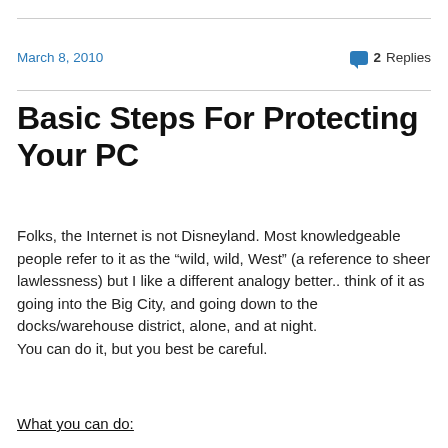March 8, 2010
2 Replies
Basic Steps For Protecting Your PC
Folks, the Internet is not Disneyland. Most knowledgeable people refer to it as the “wild, wild, West” (a reference to sheer lawlessness) but I like a different analogy better.. think of it as going into the Big City, and going down to the docks/warehouse district, alone, and at night.
You can do it, but you best be careful.
What you can do: